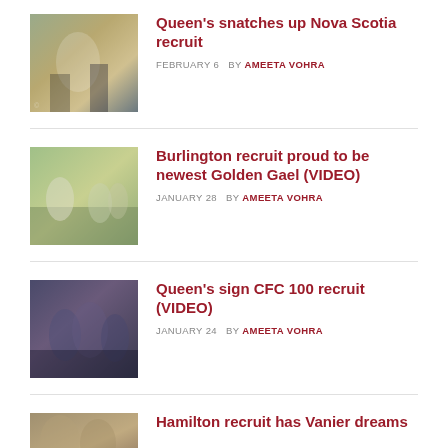[Figure (photo): Two football players, one in white jersey catching or defending a pass]
Queen's snatches up Nova Scotia recruit
FEBRUARY 6  BY AMEETA VOHRA
[Figure (photo): Football players on a green field during a game]
Burlington recruit proud to be newest Golden Gael (VIDEO)
JANUARY 28  BY AMEETA VOHRA
[Figure (photo): Football players in dark uniforms during a game]
Queen's sign CFC 100 recruit (VIDEO)
JANUARY 24  BY AMEETA VOHRA
[Figure (photo): Football players on field, partial view]
Hamilton recruit has Vanier dreams